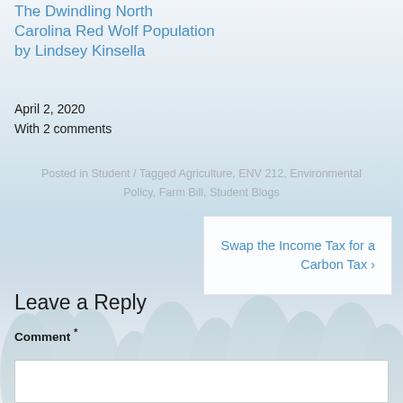The Dwindling North Carolina Red Wolf Population by Lindsey Kinsella
April 2, 2020
With 2 comments
Posted in Student / Tagged Agriculture, ENV 212, Environmental Policy, Farm Bill, Student Blogs
Swap the Income Tax for a Carbon Tax ›
Leave a Reply
Comment *